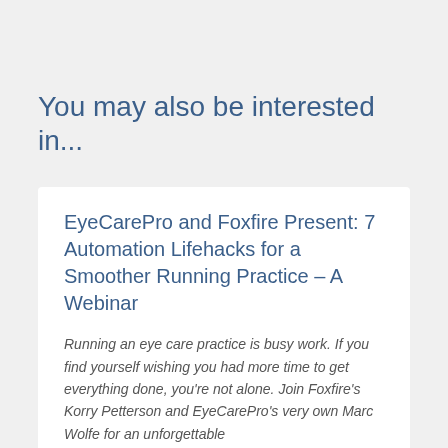You may also be interested in...
EyeCarePro and Foxfire Present: 7 Automation Lifehacks for a Smoother Running Practice – A Webinar
Running an eye care practice is busy work. If you find yourself wishing you had more time to get everything done, you're not alone. Join Foxfire's Korry Petterson and EyeCarePro's very own Marc Wolfe for an unforgettable